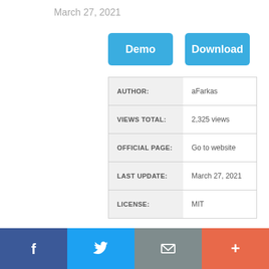March 27, 2021
Demo
Download
|  |  |
| --- | --- |
| AUTHOR: | aFarkas |
| VIEWS TOTAL: | 2,325 views |
| OFFICIAL PAGE: | Go to website |
| LAST UPDATE: | March 27, 2021 |
| LICENSE: | MIT |
f  (twitter bird)  (mail)  +